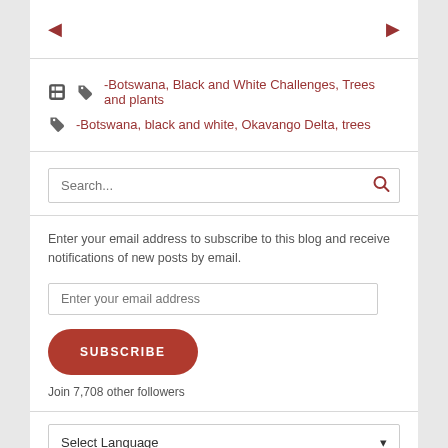[Figure (other): Navigation arrows (left and right) in dark red for post navigation]
-Botswana, Black and White Challenges, Trees and plants
-Botswana, black and white, Okavango Delta, trees
[Figure (other): Search input box with search icon on the right]
Enter your email address to subscribe to this blog and receive notifications of new posts by email.
[Figure (other): Email input field, SUBSCRIBE button, and follower count]
Join 7,708 other followers
[Figure (other): Select Language dropdown]